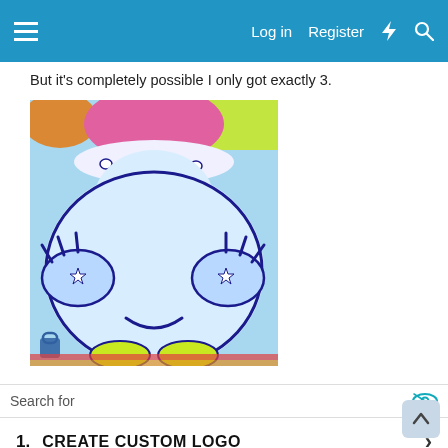☰  Log in  Register
But it's completely possible I only got exactly 3.
[Figure (photo): Close-up cartoon illustration of a round, chubby character (resembling Kirby or a similar game character) with blue outlines on a light blue background, wearing a pink hat with pearl details. The character has small claw-like hands with star decorations and a slight smile. Background shows colorful decorative elements.]
Search for
1.  CREATE CUSTOM LOGO  ›
Yahoo! Search | Sponsored